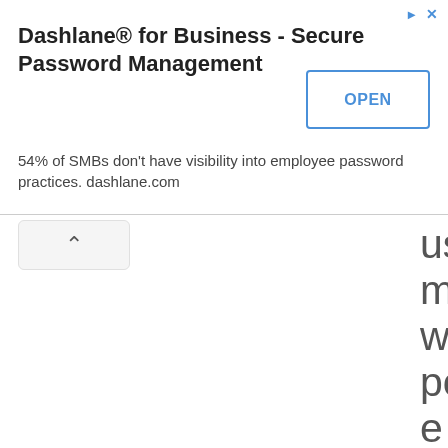[Figure (screenshot): Advertisement banner for Dashlane for Business - Secure Password Management with OPEN button]
username, or where possible when creating a personal profile. Ensure that you delete